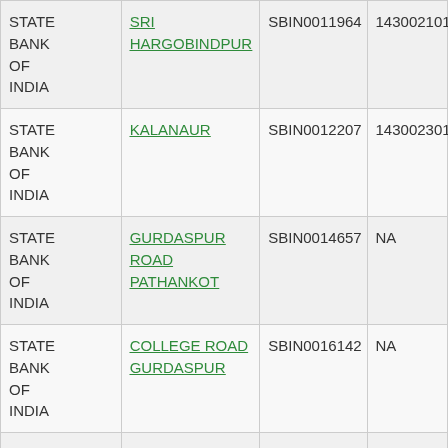| Bank | Branch | IFSC | MICR |
| --- | --- | --- | --- |
| STATE BANK OF INDIA | SRI HARGOBINDPUR | SBIN0011964 | 143002101 |
| STATE BANK OF INDIA | KALANAUR | SBIN0012207 | 143002301 |
| STATE BANK OF INDIA | GURDASPUR ROAD PATHANKOT | SBIN0014657 | NA |
| STATE BANK OF INDIA | COLLEGE ROAD GURDASPUR | SBIN0016142 | NA |
| STATE BANK OF INDIA | MAMUN | SBIN0016421 | NA |